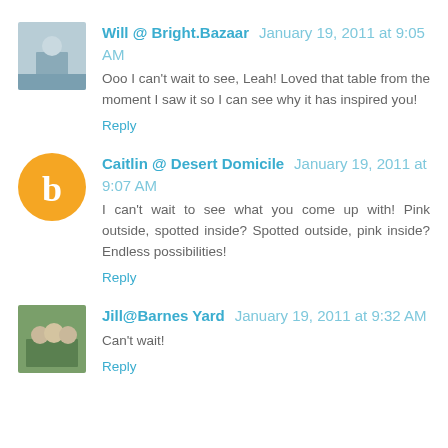Will @ Bright.Bazaar  January 19, 2011 at 9:05 AM
Ooo I can't wait to see, Leah! Loved that table from the moment I saw it so I can see why it has inspired you!
Reply
Caitlin @ Desert Domicile  January 19, 2011 at 9:07 AM
I can't wait to see what you come up with! Pink outside, spotted inside? Spotted outside, pink inside? Endless possibilities!
Reply
Jill@Barnes Yard  January 19, 2011 at 9:32 AM
Can't wait!
Reply